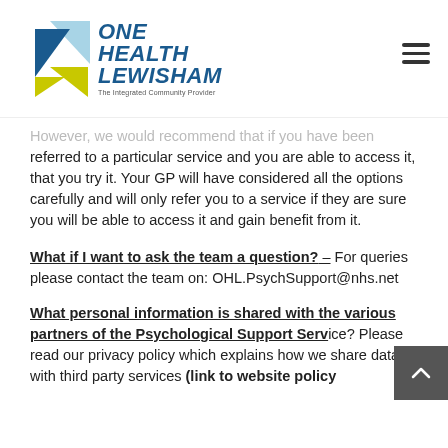One Health Lewisham — The Integrated Community Provider
However, we would recommend that if you have been referred to a particular service and you are able to access it, that you try it. Your GP will have considered all the options carefully and will only refer you to a service if they are sure you will be able to access it and gain benefit from it.
What if I want to ask the team a question? – For queries please contact the team on: OHL.PsychSupport@nhs.net
What personal information is shared with the various partners of the Psychological Support Service? Please read our privacy policy which explains how we share data with third party services (link to website policy